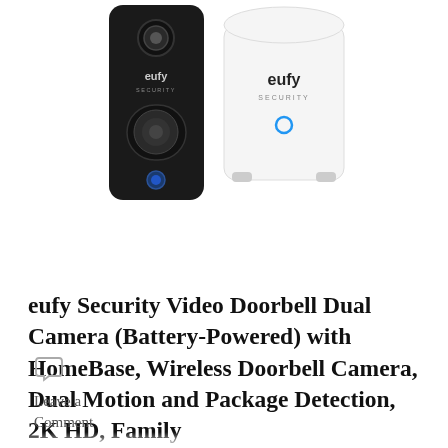[Figure (photo): Photo of eufy Security Video Doorbell Dual Camera product — a tall black doorbell unit with dual cameras on the left, and a white cylindrical HomeBase unit on the right. The eufy logo and 'security' text appear on both devices.]
eufy Security Video Doorbell Dual Camera (Battery-Powered) with HomeBase, Wireless Doorbell Camera, Dual Motion and Package Detection, 2K HD, Family
Leave a Comment